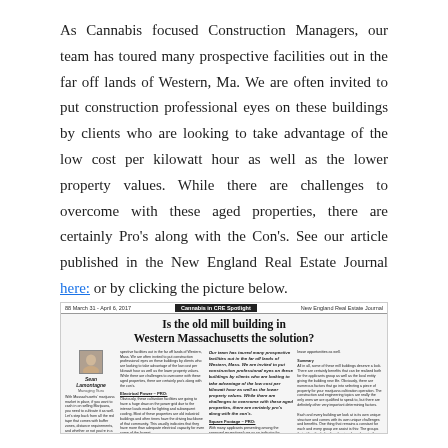As Cannabis focused Construction Managers, our team has toured many prospective facilities out in the far off lands of Western, Ma. We are often invited to put construction professional eyes on these buildings by clients who are looking to take advantage of the low cost per kilowatt hour as well as the lower property values. While there are challenges to overcome with these aged properties, there are certainly Pro's along with the Con's. See our article published in the New England Real Estate Journal here: or by clicking the picture below.
[Figure (screenshot): Newspaper article thumbnail from New England Real Estate Journal titled 'Is the old mill building in Western Massachusetts the solution?' showing author Sean Lamontagne, Managing Guru, with a small photo and multi-column article text.]